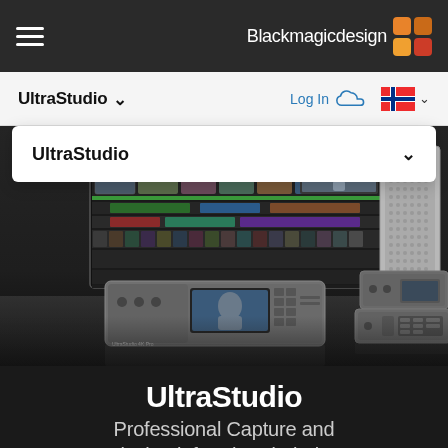Blackmagicdesign
UltraStudio
[Figure (screenshot): Blackmagicdesign UltraStudio product page screenshot showing video editing software interface on a monitor, UltraStudio hardware devices on a reflective surface, and a Mac Pro tower]
UltraStudio
Professional Capture and Playback for Thunderbolt 3